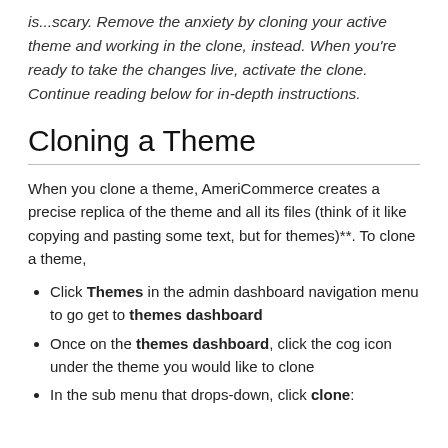is...scary. Remove the anxiety by cloning your active theme and working in the clone, instead. When you're ready to take the changes live, activate the clone. Continue reading below for in-depth instructions.
Cloning a Theme
When you clone a theme, AmeriCommerce creates a precise replica of the theme and all its files (think of it like copying and pasting some text, but for themes)**. To clone a theme,
Click Themes in the admin dashboard navigation menu to go get to themes dashboard
Once on the themes dashboard, click the cog icon under the theme you would like to clone
In the sub menu that drops-down, click clone: